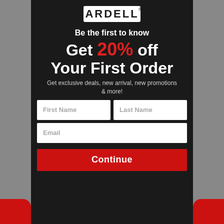[Figure (logo): Ardell brand logo — white text on black background with registered trademark symbol]
Be the first to know
Get 20% off Your First Order
Get exclusive deals, new arrival, new promotions & more!
First Name | Last Name | Email form fields and Continue button